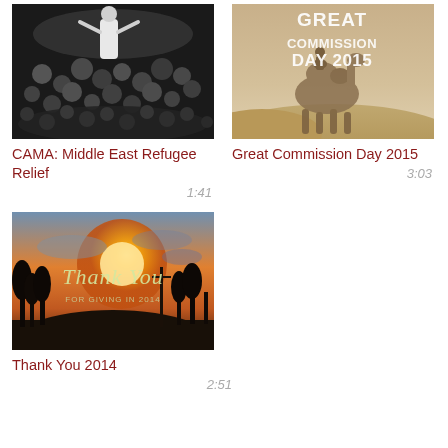[Figure (photo): Black and white photo of a crowd of people, overhead view, Middle East refugees]
CAMA: Middle East Refugee Relief
1:41
[Figure (photo): Sepia-tone photo of a camel in a desert with text overlay: GREAT COMMISSION DAY 2015]
Great Commission Day 2015
3:03
[Figure (photo): Photo of a sunset with trees silhouetted and cursive text overlay: Thank You FOR GIVING IN 2014]
Thank You 2014
2:51